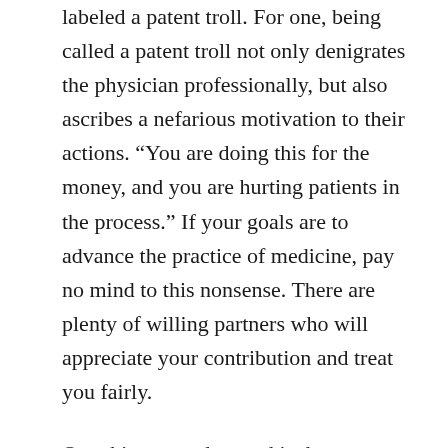labeled a patent troll.  For one, being called a patent troll not only denigrates the physician professionally, but also ascribes a nefarious motivation to their actions.  “You are doing this for the money, and you are hurting patients in the process.”  If your goals are to advance the practice of medicine, pay no mind to this nonsense.  There are plenty of willing partners who will appreciate your contribution and treat you fairly.
One thing to understand is that every sizable device manufacturer files thousands of patent applications each year, but only a few of them ever cover a commercial product.  Most of the patent applications are filed to preserve opportunities